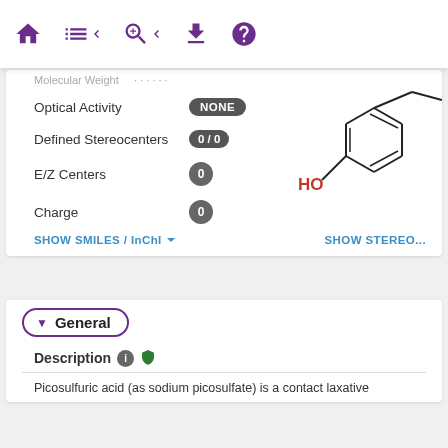[Figure (screenshot): Navigation bar with home, list, search, download, and help icons in purple]
Molecular Weight  [truncated]
Optical Activity   NONE
Defined Stereocenters   0 / 0
E/Z Centers   0
Charge   0
[Figure (illustration): Chemical structure showing a benzene ring with HO group (phenol) in red/black line drawing]
SHOW SMILES / InChI ▾
SHOW STEREO...
▾ General
Description
Picosulfuric acid (as sodium picosulfate) is a contact laxative